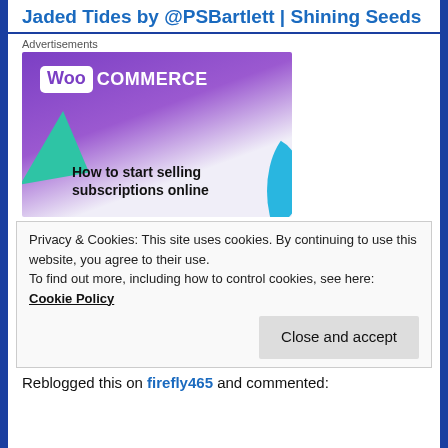Jaded Tides by @PSBartlett | Shining Seeds
Advertisements
[Figure (screenshot): WooCommerce advertisement banner with purple background, green triangle and blue arc decorative shapes, text reading 'How to start selling subscriptions online']
Privacy & Cookies: This site uses cookies. By continuing to use this website, you agree to their use.
To find out more, including how to control cookies, see here: Cookie Policy
Close and accept
Reblogged this on firefly465 and commented: